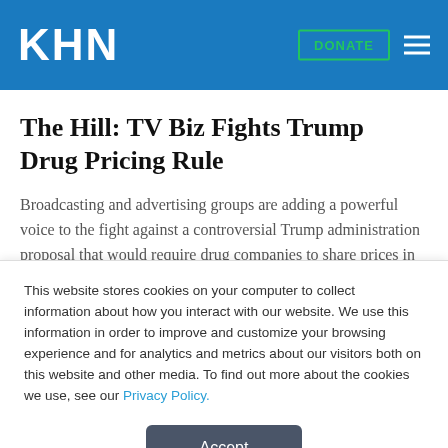KHN
The Hill: TV Biz Fights Trump Drug Pricing Rule
Broadcasting and advertising groups are adding a powerful voice to the fight against a controversial Trump administration proposal that would require drug companies to share prices in their commercials. Critics worry the new rules could discourage Big Pharma from advertising on air, costing the nation's advertisers and television stations an important source of
This website stores cookies on your computer to collect information about how you interact with our website. We use this information in order to improve and customize your browsing experience and for analytics and metrics about our visitors both on this website and other media. To find out more about the cookies we use, see our Privacy Policy.